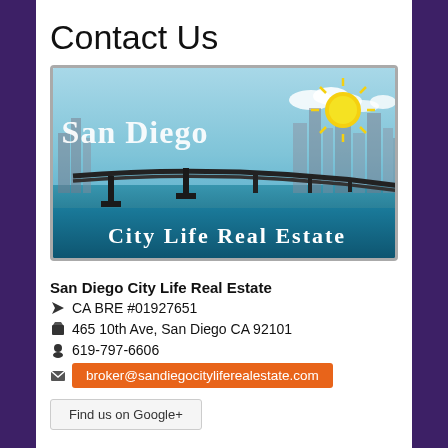Contact Us
[Figure (logo): San Diego City Life Real Estate logo with Coronado Bridge illustration, teal/blue background, yellow sun graphic, and white text reading 'San Diego' and 'City Life Real Estate']
San Diego City Life Real Estate
CA BRE #01927651
465 10th Ave, San Diego CA 92101
619-797-6606
broker@sandiegocityliferealestate.com
Find us on Google+